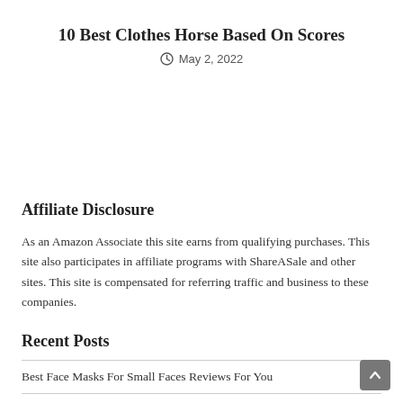10 Best Clothes Horse Based On Scores
May 2, 2022
Affiliate Disclosure
As an Amazon Associate this site earns from qualifying purchases. This site also participates in affiliate programs with ShareASale and other sites. This site is compensated for referring traffic and business to these companies.
Recent Posts
Best Face Masks For Small Faces Reviews For You
Best #10 – Face Mask For Men Dust With Buying Guide